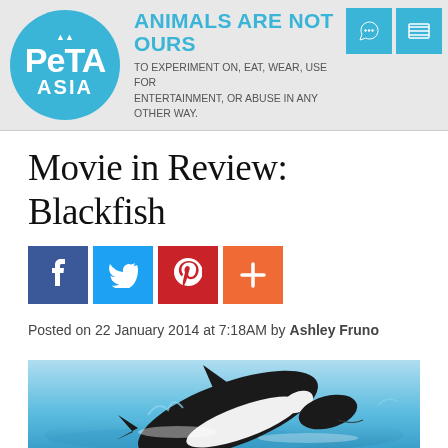[Figure (logo): PETA Asia logo: round teal circle with white PETA and ASIA text and small fish icon]
ANIMALS ARE NOT OURS TO EXPERIMENT ON, EAT, WEAR, USE FOR ENTERTAINMENT, OR ABUSE IN ANY OTHER WAY.
Movie in Review: Blackfish
[Figure (infographic): Social share buttons: Facebook (blue), Twitter (light blue), Pinterest (red), More/Plus (orange)]
Posted on 22 January 2014 at 7:18AM by Ashley Fruno
[Figure (photo): Orca (killer whale) leaping out of blue water, black and white coloring visible]